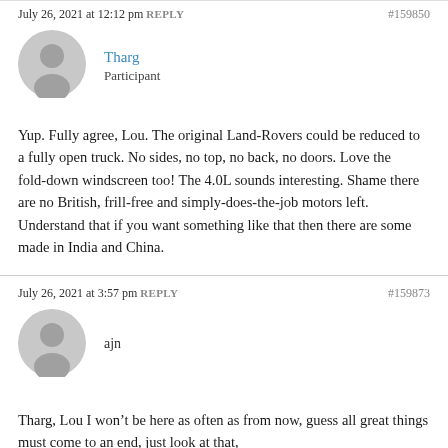July 26, 2021 at 12:12 pm REPLY   #159850
Tharg
Participant
Yup. Fully agree, Lou. The original Land-Rovers could be reduced to a fully open truck. No sides, no top, no back, no doors. Love the fold-down windscreen too! The 4.0L sounds interesting. Shame there are no British, frill-free and simply-does-the-job motors left. Understand that if you want something like that then there are some made in India and China.
July 26, 2021 at 3:57 pm REPLY   #159873
ajn
Tharg, Lou I won't be here as often as from now, guess all great things must come to an end, just look at that,